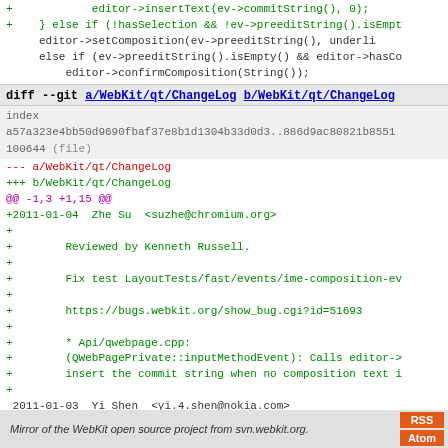+            editor->insertText(ev->commitString(), 0);
+    } else if (!hasSelection && !ev->preeditString().isEmp
     editor->setComposition(ev->preeditString(), underli
     else if (ev->preeditString().isEmpty() && editor->hasCo
         editor->confirmComposition(String());
diff --git a/WebKit/qt/ChangeLog b/WebKit/qt/ChangeLog
index
a57a323e4bb50d9690fbaf37e8b1d1304b33d0d3..886d9ac80821b8551
100644 (file)
--- a/WebKit/qt/ChangeLog
+++ b/WebKit/qt/ChangeLog
@@ -1,3 +1,15 @@
+2011-01-04  Zhe Su  <suzhe@chromium.org>
+
+        Reviewed by Kenneth Russell.
+
+        Fix test LayoutTests/fast/events/ime-composition-ev
+
+        https://bugs.webkit.org/show_bug.cgi?id=51693
+
+        * Api/qwebpage.cpp:
+        (QWebPagePrivate::inputMethodEvent): Calls editor->
+        insert the commit string when no composition text i
+
 2011-01-03  Yi Shen  <yi.4.shen@nokia.com>

         Reviewed by Adam Barth.
Mirror of the WebKit open source project from svn.webkit.org.